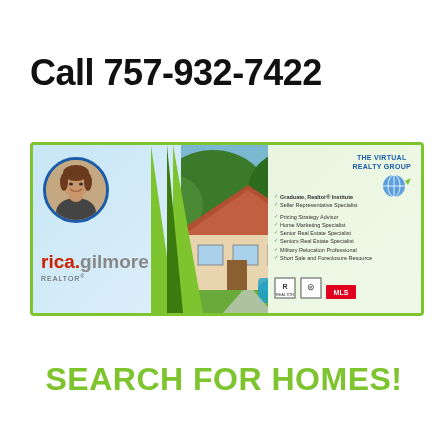Call 757-932-7422
[Figure (infographic): Real estate agent banner for Rica Gilmore, REALTOR with The Virtual Realty Group. Shows agent photo in circular frame, house aerial photo, and credentials list including Graduate Realtor Institute, Seller Representative Specialist, Pricing Strategy Advisor, Home Marketing Specialist, Senior Real Estate Specialist, Senior Real Estate Specialist, Military Relocation Professional, Short Sale and Foreclosure Resource.]
SEARCH FOR HOMES!